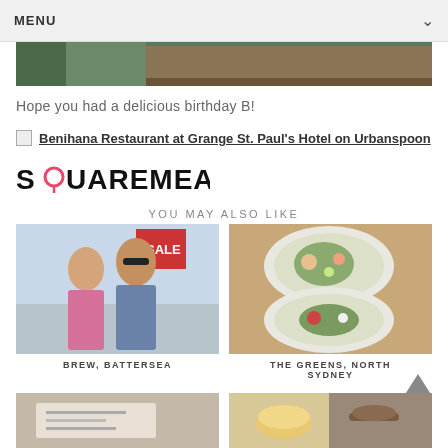MENU
[Figure (photo): Hero image showing top of a scenic photograph, partially visible]
Hope you had a delicious birthday B!
Benihana Restaurant at Grange St. Paul's Hotel on Urbanspoon
[Figure (logo): SQUAREMEAL logo in black with a spoon icon replacing the O]
YOU MAY ALSO LIKE
[Figure (photo): Photo of a couple, man and woman, smiling outdoors]
BREW, BATTERSEA
[Figure (photo): Two plates of salad food from above on a wooden table]
THE GREENS, NORTH SYDNEY
[Figure (photo): Partial photo of a menu on a table]
[Figure (photo): Partial photo of macarons and food items]